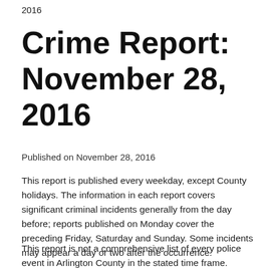2016
Crime Report: November 28, 2016
Published on November 28, 2016
This report is published every weekday, except County holidays. The information in each report covers significant criminal incidents generally from the day before; reports published on Monday cover the preceding Friday, Saturday and Sunday. Some incidents may appear a day or two after the occurrence.
This report is not a comprehensive list of every police event in Arlington County in the stated time frame. Addresses